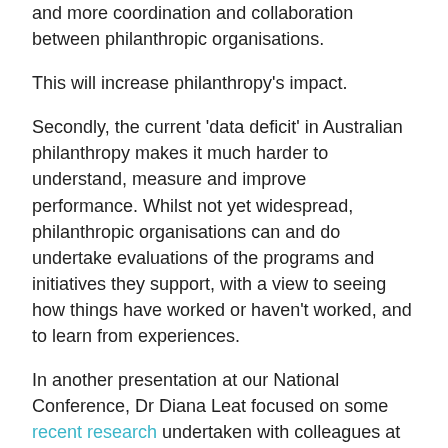and more coordination and collaboration between philanthropic organisations.
This will increase philanthropy's impact.
Secondly, the current 'data deficit' in Australian philanthropy makes it much harder to understand, measure and improve performance. Whilst not yet widespread, philanthropic organisations can and do undertake evaluations of the programs and initiatives they support, with a view to seeing how things have worked or haven't worked, and to learn from experiences.
In another presentation at our National Conference, Dr Diana Leat focused on some recent research undertaken with colleagues at the Queensland University of Technology, commenting that many of the evaluations which are done are just sitting in foundation offices around Australia – they aren't disseminated and so nobody else is getting the opportunity to learn from them. This made me think of Brad referring to US foundations as 'islands of information' in his presentation the day before – a very good analogy.